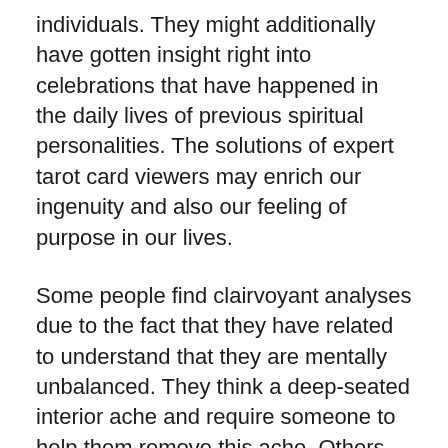individuals. They might additionally have gotten insight right into celebrations that have happened in the daily lives of previous spiritual personalities. The solutions of expert tarot card viewers may enrich our ingenuity and also our feeling of purpose in our lives.
Some people find clairvoyant analyses due to the fact that they have related to understand that they are mentally unbalanced. They think a deep-seated interior ache and require someone to help them remove this ache. Others seek a reading given that they are actually beginning to struggle with a type of clinical depression. Tarot cards could be incredibly effective in helping these people to go on and recover their psychological cuts. A clairvoyant